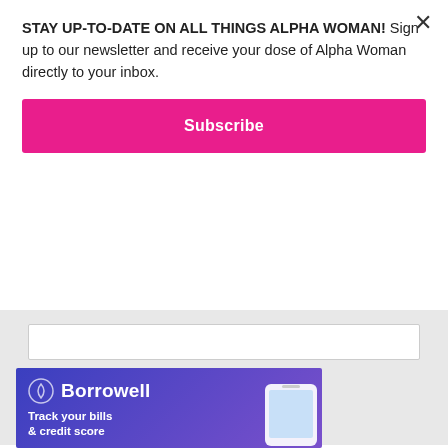STAY UP-TO-DATE ON ALL THINGS ALPHA WOMAN! Sign up to our newsletter and receive your dose of Alpha Woman directly to your inbox.
Subscribe
Submit
[Figure (screenshot): Borrowell advertisement banner with blue/purple gradient background, Borrowell logo with icon, and text 'Track your bills & credit score' with a phone mockup on the right side]